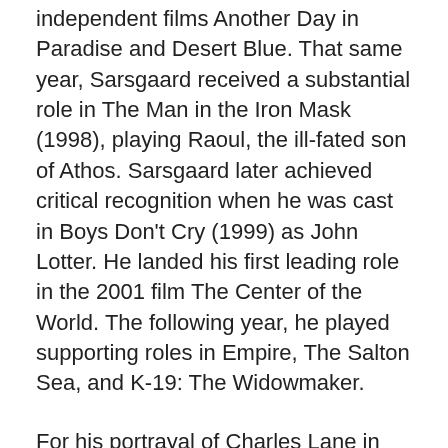independent films Another Day in Paradise and Desert Blue. That same year, Sarsgaard received a substantial role in The Man in the Iron Mask (1998), playing Raoul, the ill-fated son of Athos. Sarsgaard later achieved critical recognition when he was cast in Boys Don't Cry (1999) as John Lotter. He landed his first leading role in the 2001 film The Center of the World. The following year, he played supporting roles in Empire, The Salton Sea, and K-19: The Widowmaker.
For his portrayal of Charles Lane in Shattered Glass, Sarsgaard won the National Society of Film Critics Award for Best Supporting Actor and was nominated for the 2004 Golden Globe Award for Best Supporting Actor. Sarsgaard has appeared in an eclectic range of films, including the 2004 comedy-drama Garden State, the biographical film Kinsey (2004), the drama The Dying Gaul (2005), and big-budget films such as Flight plan (2005), Jarhead (2005),